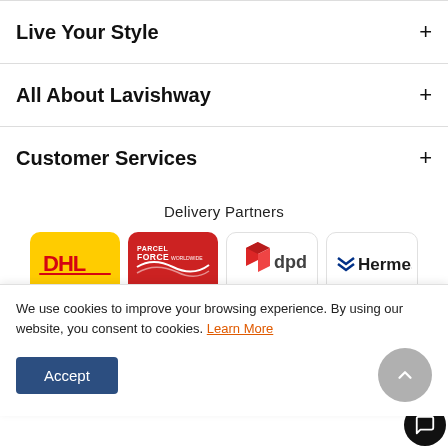Live Your Style
All About Lavishway
Customer Services
Delivery Partners
[Figure (logo): DHL logo on yellow background]
[Figure (logo): Parcelforce Worldwide logo on red background]
[Figure (logo): DPD logo with red box icon]
[Figure (logo): Hermes logo with blue chevron]
We use cookies to improve your browsing experience. By using our website, you consent to cookies. Learn More
Accept